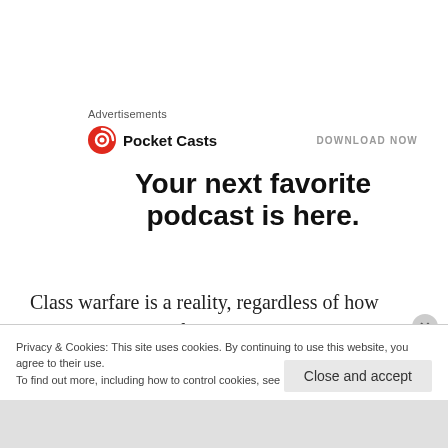Advertisements
[Figure (logo): Pocket Casts logo with red circular icon and bold text 'Pocket Casts', with 'DOWNLOAD NOW' call to action on the right]
Your next favorite podcast is here.
Class warfare is a reality, regardless of how capitalists and the far right denies it. As much as I hate siding with the left, I have to say they have this
Privacy & Cookies: This site uses cookies. By continuing to use this website, you agree to their use.
To find out more, including how to control cookies, see here: Cookie Policy
Close and accept